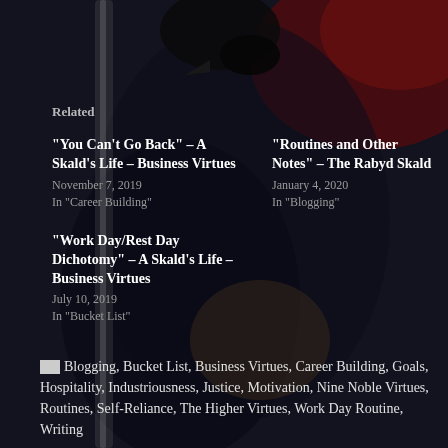Related
“You Can’t Go Back” – A Skald’s Life – Business Virtues
November 7, 2019
In “Career Building”
“Routines and Other Notes” – The Rabyd Skald
January 4, 2020
In “Blogging”
“Work Day/Rest Day Dichotomy” – A Skald’s Life – Business Virtues
July 10, 2019
In “Bucket List”
Blogging, Bucket List, Business Virtues, Career Building, Goals, Hospitality, Industriousness, Justice, Motivation, Nine Noble Virtues, Routines, Self-Reliance, The Higher Virtues, Work Day Routine, Writing